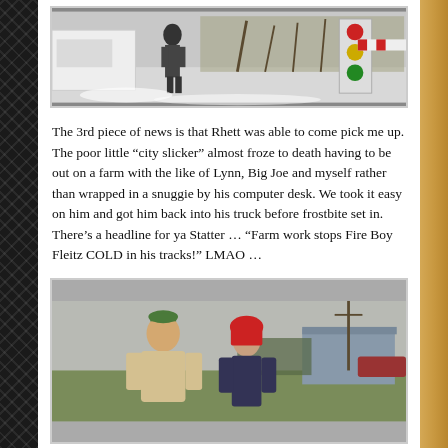[Figure (photo): Outdoor snowy winter scene with a person near a white vehicle and a traffic light, bare trees in background.]
The 3rd piece of news is that Rhett was able to come pick me up. The poor little “city slicker” almost froze to death having to be out on a farm with the like of Lynn, Big Joe and myself rather than wrapped in a snuggie by his computer desk. We took it easy on him and got him back into his truck before frostbite set in. There’s a headline for ya Statter … “Farm work stops Fire Boy Fleitz COLD in his tracks!” LMAO …
[Figure (photo): Two people standing outdoors on a farm with a gray metal building and utility pole in the background. Left person is a heavier man in a tan jacket with a green cap; right person is wearing a red hoodie.]